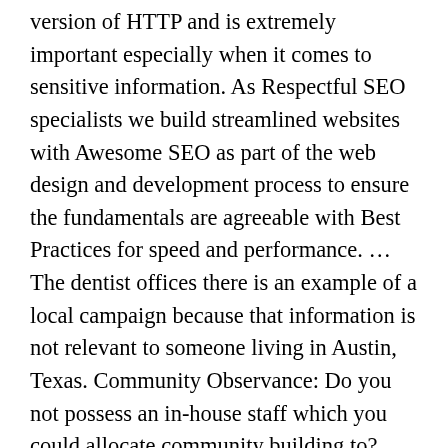version of HTTP and is extremely important especially when it comes to sensitive information. As Respectful SEO specialists we build streamlined websites with Awesome SEO as part of the web design and development process to ensure the fundamentals are agreeable with Best Practices for speed and performance. ... The dentist offices there is an example of a local campaign because that information is not relevant to someone living in Austin, Texas. Community Observance: Do you not possess an in-house staff which you could allocate community building to? Nobody knows your industry and services better than you, yet if you want assistance, we can observe the communities that are important to you. Thomas Digital is a web design company located in